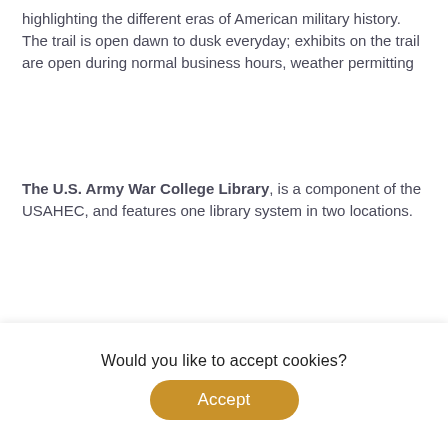highlighting the different eras of American military history. The trail is open dawn to dusk everyday; exhibits on the trail are open during normal business hours, weather permitting
The U.S. Army War College Library, is a component of the USAHEC, and features one library system in two locations.
Ridgway Hall (Military History Institute): Located on the USAHEC campus in Ridgway Hall, Military History Institute library and archives is the Army's preeminent research facility. The collection located in the Ridgway Hall research facility encompasses over 14
Would you like to accept cookies?
Accept